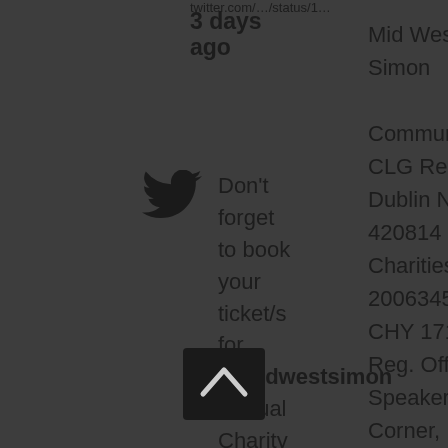twitter.com/…/status/1…
3 days ago
[Figure (logo): Twitter bird logo icon]
Don't forget to book your ticket/s for @midwestsimon Annual Charity Ball on Sat 24th September at 6.30pm in... twitter.com/l…/status/1… 2 weeks
Mid West Simon Community CLG Reg. in Dublin No: 420814 Charities No. 20063450 CHY 17187. Reg. Office: Speaker's Corner, Lower Carey's Rd,
[Figure (other): Scroll to top button, dark square with upward chevron arrow]